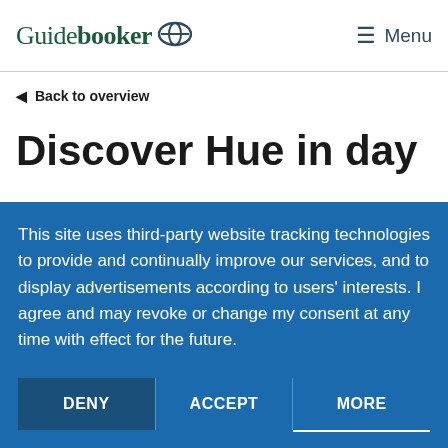Guidebooker Menu
Back to overview
Discover Hue in day
This site uses third-party website tracking technologies to provide and continually improve our services, and to display advertisements according to users' interests. I agree and may revoke or change my consent at any time with effect for the future.
DENY | ACCEPT | MORE
Powered by usercentrics &